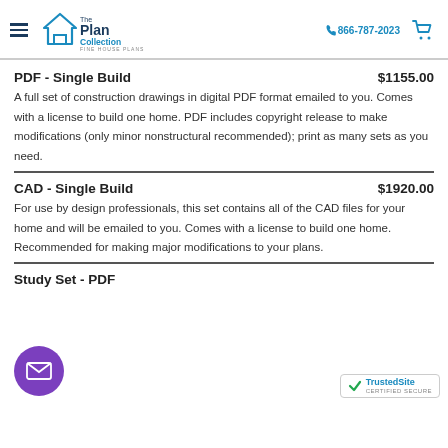The Plan Collection | FINE HOUSE PLANS | 866-787-2023
PDF - Single Build   $1155.00
A full set of construction drawings in digital PDF format emailed to you. Comes with a license to build one home. PDF includes copyright release to make modifications (only minor nonstructural recommended); print as many sets as you need.
CAD - Single Build   $1920.00
For use by design professionals, this set contains all of the CAD files for your home and will be emailed to you. Comes with a license to build one home. Recommended for making major modifications to your plans.
Study Set - PDF